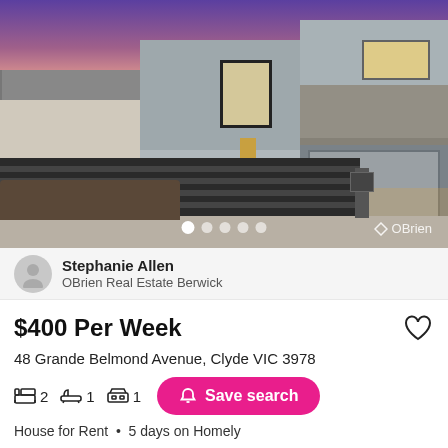[Figure (photo): Exterior photo of a modern two-storey house with grey metal cladding, a black horizontal-slat fence, and a purple-pink sunset sky. OBrien watermark in lower right. Carousel dot indicators at bottom center.]
Stephanie Allen
OBrien Real Estate Berwick
$400 Per Week
48 Grande Belmond Avenue, Clyde VIC 3978
2  1  1  Save search
House for Rent  •  5 days on Homely